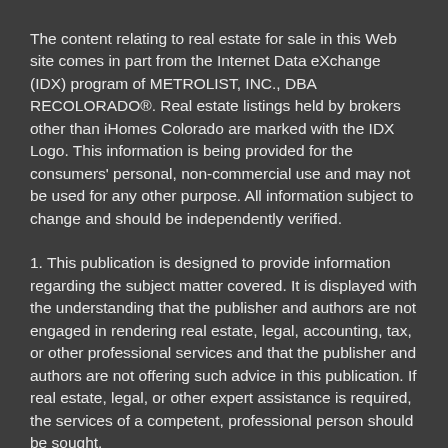The content relating to real estate for sale in this Web site comes in part from the Internet Data eXchange (IDX) program of METROLIST, INC., DBA RECOLORADO®. Real estate listings held by brokers other than iHomes Colorado are marked with the IDX Logo. This information is being provided for the consumers' personal, non-commercial use and may not be used for any other purpose. All information subject to change and should be independently verified.
1. This publication is designed to provide information regarding the subject matter covered. It is displayed with the understanding that the publisher and authors are not engaged in rendering real estate, legal, accounting, tax, or other professional services and that the publisher and authors are not offering such advice in this publication. If real estate, legal, or other expert assistance is required, the services of a competent, professional person should be sought.
2. The information contained in this publication is subject to change without notice. METROLIST, INC., DBA RECOLORADO